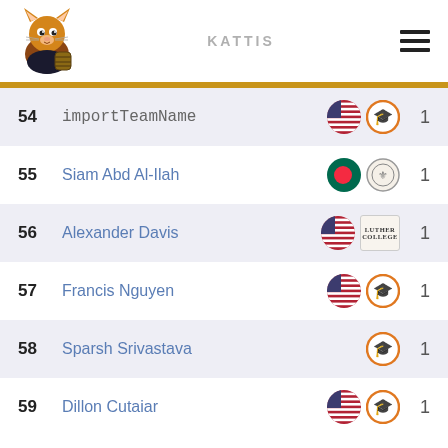KATTIS
| Rank | Name | Flags | Score |
| --- | --- | --- | --- |
| 54 | importTeamName | US flag, institution icon | 1 |
| 55 | Siam Abd Al-Ilah | Bangladesh flag, institution icon | 1 |
| 56 | Alexander Davis | US flag, Luther College | 1 |
| 57 | Francis Nguyen | US flag, institution icon | 1 |
| 58 | Sparsh Srivastava | institution icon | 1 |
| 59 | Dillon Cutaiar | US flag, institution icon | 1 |